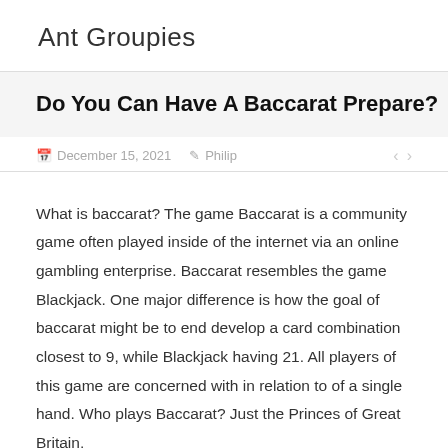Ant Groupies
Do You Can Have A Baccarat Prepare?
December 15, 2021   Philip
What is baccarat? The game Baccarat is a community game often played inside of the internet via an online gambling enterprise. Baccarat resembles the game Blackjack. One major difference is how the goal of baccarat might be to end develop a card combination closest to 9, while Blackjack having 21. All players of this game are concerned with in relation to of a single hand. Who plays Baccarat? Just the Princes of Great Britain,